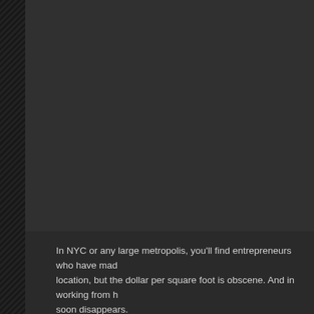[Figure (photo): Large dark image area occupying the upper portion of the page, appearing mostly black/very dark with a left sidebar with diagonal hatching pattern.]
In NYC or any large metropolis, you'll find entrepreneurs who have made location, but the dollar per square foot is obscene. And in working from home soon disappears.
You can use your flexibility to your advantage if you don't have a tradition